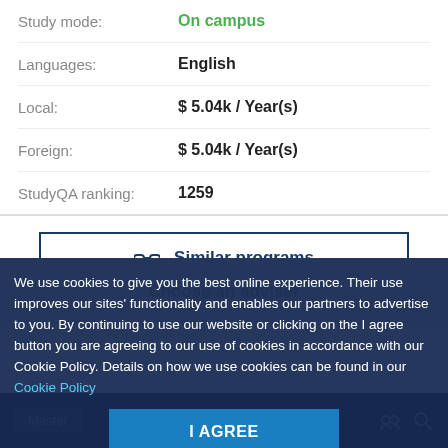| Field | Value |
| --- | --- |
| Study mode: | On campus |
| Languages: | English |
| Local: | $ 5.04k / Year(s) |
| Foreign: | $ 5.04k / Year(s) |
| StudyQA ranking: | 1259 |
Similar programs
We use cookies to give you the best online experience. Their use improves our sites' functionality and enables our partners to advertise to you. By continuing to use our website or clicking on the I agree button you are agreeing to our use of cookies in accordance with our Cookie Policy. Details on how we use cookies can be found in our Cookie Policy
I AGREE
Master